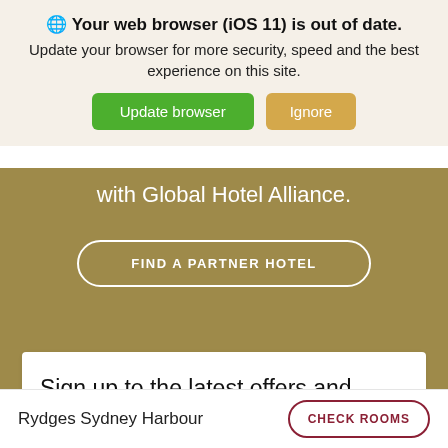🌐 Your web browser (iOS 11) is out of date. Update your browser for more security, speed and the best experience on this site.
Update browser | Ignore
with Global Hotel Alliance.
FIND A PARTNER HOTEL
Sign up to the latest offers and updates
Rydges Sydney Harbour
CHECK ROOMS